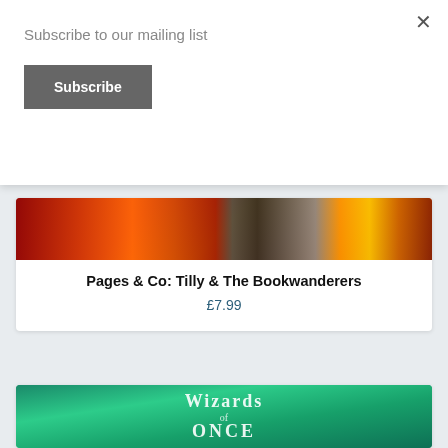Subscribe to our mailing list
Subscribe
×
[Figure (photo): Partial book cover image with colorful red/orange background visible at top of first card]
Pages & Co: Tilly & The Bookwanderers
£7.99
[Figure (photo): Book cover for Wizards of Once: Twice Magic, featuring teal/green background with white hand-drawn style lettering]